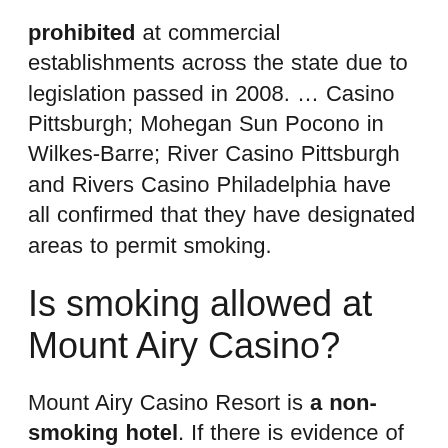prohibited at commercial establishments across the state due to legislation passed in 2008. … Casino Pittsburgh; Mohegan Sun Pocono in Wilkes-Barre; River Casino Pittsburgh and Rivers Casino Philadelphia have all confirmed that they have designated areas to permit smoking.
Is smoking allowed at Mount Airy Casino?
Mount Airy Casino Resort is a non-smoking hotel. If there is evidence of smoking in your room you will incur a minimum deep cleaning fee of $250 charged to your account. You authorize Mount Airy to place a hold against your credit or debit card to guarantee any and all charges.